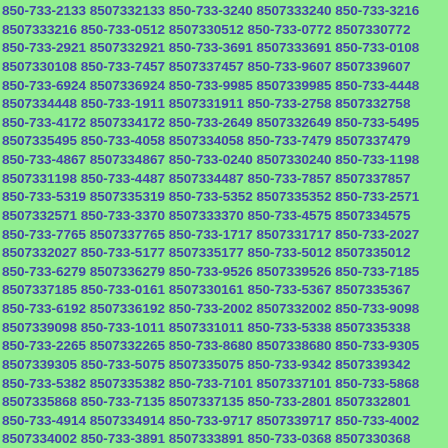850-733-2133 8507332133 850-733-3240 8507333240 850-733-3216 8507333216 850-733-0512 8507330512 850-733-0772 8507330772 850-733-2921 8507332921 850-733-3691 8507333691 850-733-0108 8507330108 850-733-7457 8507337457 850-733-9607 8507339607 850-733-6924 8507336924 850-733-9985 8507339985 850-733-4448 8507334448 850-733-1911 8507331911 850-733-2758 8507332758 850-733-4172 8507334172 850-733-2649 8507332649 850-733-5495 8507335495 850-733-4058 8507334058 850-733-7479 8507337479 850-733-4867 8507334867 850-733-0240 8507330240 850-733-1198 8507331198 850-733-4487 8507334487 850-733-7857 8507337857 850-733-5319 8507335319 850-733-5352 8507335352 850-733-2571 8507332571 850-733-3370 8507333370 850-733-4575 8507334575 850-733-7765 8507337765 850-733-1717 8507331717 850-733-2027 8507332027 850-733-5177 8507335177 850-733-5012 8507335012 850-733-6279 8507336279 850-733-9526 8507339526 850-733-7185 8507337185 850-733-0161 8507330161 850-733-5367 8507335367 850-733-6192 8507336192 850-733-2002 8507332002 850-733-9098 8507339098 850-733-1011 8507331011 850-733-5338 8507335338 850-733-2265 8507332265 850-733-8680 8507338680 850-733-9305 8507339305 850-733-5075 8507335075 850-733-9342 8507339342 850-733-5382 8507335382 850-733-7101 8507337101 850-733-5868 8507335868 850-733-7135 8507337135 850-733-2801 8507332801 850-733-4914 8507334914 850-733-9717 8507339717 850-733-4002 8507334002 850-733-3891 8507333891 850-733-0368 8507330368 850-733-5856 8507335856 850-733-1976 8507331976 850-733-578